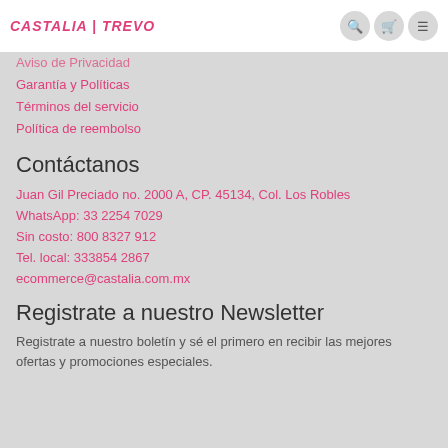CASTALIA | TREVO
Aviso de Privacidad
Garantía y Políticas
Términos del servicio
Política de reembolso
Contáctanos
Juan Gil Preciado no. 2000 A, CP. 45134, Col. Los Robles
WhatsApp: 33 2254 7029
Sin costo: 800 8327 912
Tel. local: 333854 2867
ecommerce@castalia.com.mx
Registrate a nuestro Newsletter
Registrate a nuestro boletín y sé el primero en recibir las mejores ofertas y promociones especiales.